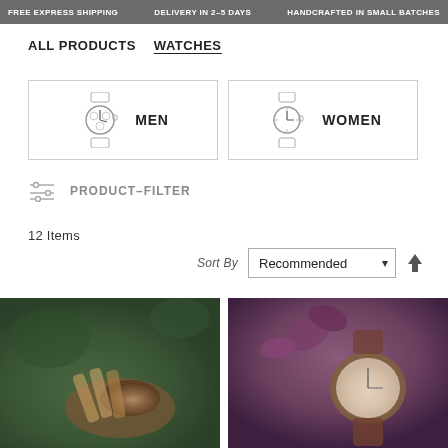FREE EXPRESS SHIPPING    DELIVERY IN 2–5 DAYS    HANDCRAFTED IN SMALL BATCHES
ALL PRODUCTS   WATCHES
[Figure (infographic): Two category boxes side by side: MEN (with chronograph watch icon) and WOMEN (with simple watch icon)]
PRODUCT-FILTER
12 Items
Sort By   Recommended
[Figure (photo): Close-up photo of a wooden watch on a blue-green foliage background]
[Figure (photo): Close-up photo of a watch on purple succulent plant background]